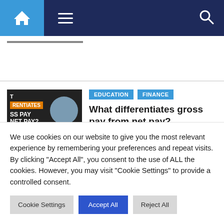[Figure (screenshot): Website navigation bar with home icon, hamburger menu, and search icon on dark navy background with blue home box]
[Figure (illustration): Article thumbnail image showing text about gross pay vs net pay with orange label on dark background]
EDUCATION  FINANCE
What differentiates gross pay from net pay?
14 hours ago   Patrica
We use cookies on our website to give you the most relevant experience by remembering your preferences and repeat visits. By clicking "Accept All", you consent to the use of ALL the cookies. However, you may visit "Cookie Settings" to provide a controlled consent.